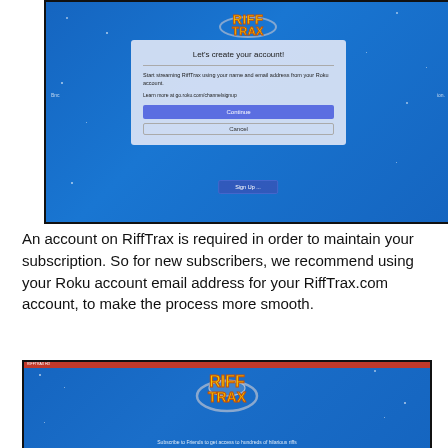[Figure (screenshot): Screenshot of a TV/monitor showing the RiffTrax Roku channel app with a dialog box 'Let's create your account!' prompting user to start streaming using their Roku account name and email. Contains a 'Continue' button (blue) and 'Cancel' button, and a 'Sign Up' button below.]
An account on RiffTrax is required in order to maintain your subscription. So for new subscribers, we recommend using your Roku account email address for your RiffTrax.com account, to make the process more smooth.
[Figure (screenshot): Screenshot of a TV/monitor showing the RiffTrax Roku channel app with the RiffTrax logo on a blue starry background. Text at the bottom reads 'Subscribe to Friends to get access to hundreds of hilarious riffs'.]